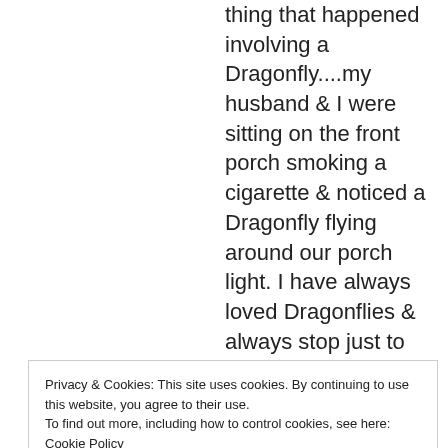thing that happened involving a Dragonfly....my husband & I were sitting on the front porch smoking a cigarette & noticed a Dragonfly flying around our porch light. I have always loved Dragonflies & always stop just to state at them when I have the opportunity. We had an empty bb container on the porch so I told my husband be as easy as he could & catch the Dragonfly. I
Privacy & Cookies: This site uses cookies. By continuing to use this website, you agree to their use.
To find out more, including how to control cookies, see here: Cookie Policy
Close and accept